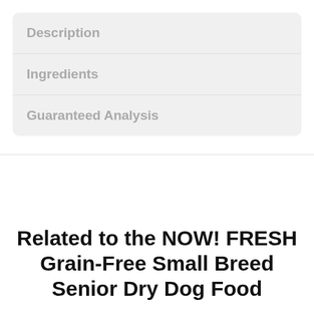Description
Ingredients
Guaranteed Analysis
Related to the NOW! FRESH Grain-Free Small Breed Senior Dry Dog Food